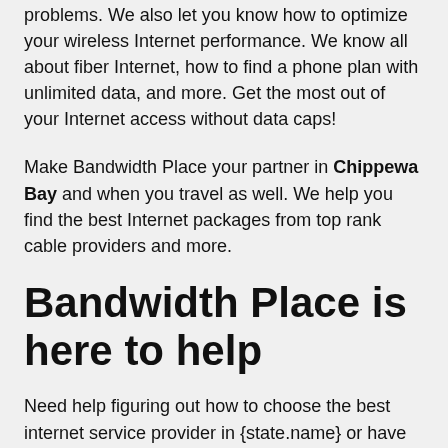problems. We also let you know how to optimize your wireless Internet performance. We know all about fiber Internet, how to find a phone plan with unlimited data, and more. Get the most out of your Internet access without data caps!
Make Bandwidth Place your partner in Chippewa Bay and when you travel as well. We help you find the best Internet packages from top rank cable providers and more.
Bandwidth Place is here to help
Need help figuring out how to choose the best internet service provider in {state.name} or have further questions? Bandwidth Place can help every step of the way. We're here to simplify your buyer's journey and narrow down